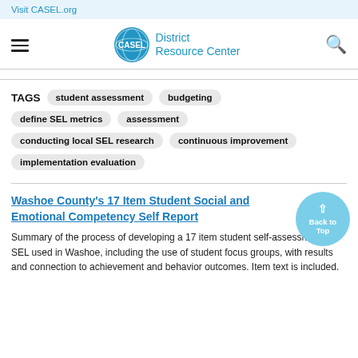Visit CASEL.org
[Figure (logo): CASEL District Resource Center logo with blue globe icon and text]
TAGS student assessment  budgeting  define SEL metrics  assessment  conducting local SEL research  continuous improvement  implementation evaluation
Washoe County's 17 Item Student Social and Emotional Competency Self Report
Summary of the process of developing a 17 item student self-assessment of SEL used in Washoe, including the use of student focus groups, with results and connection to achievement and behavior outcomes. Item text is included.